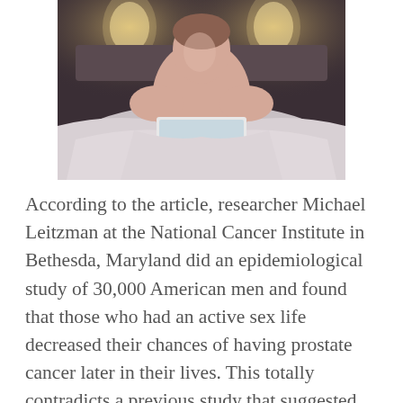[Figure (photo): A shirtless man sitting in bed with rumpled white sheets, using a laptop computer. Soft warm lighting from wall sconces in the background.]
According to the article, researcher Michael Leitzman at the National Cancer Institute in Bethesda, Maryland did an epidemiological study of 30,000 American men and found that those who had an active sex life decreased their chances of having prostate cancer later in their lives. This totally contradicts a previous study that suggested there was a link with more sexual activity and increases incidence of prostate cancer, which was a...